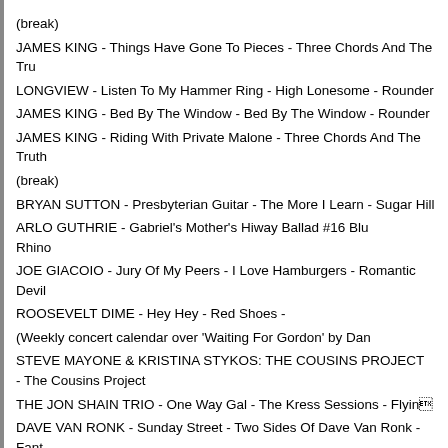(break)
JAMES KING - Things Have Gone To Pieces - Three Chords And The Tru
LONGVIEW - Listen To My Hammer Ring - High Lonesome - Rounder
JAMES KING - Bed By The Window - Bed By The Window - Rounder
JAMES KING - Riding With Private Malone - Three Chords And The Truth
(break)
BRYAN SUTTON - Presbyterian Guitar - The More I Learn - Sugar Hill
ARLO GUTHRIE - Gabriel&#039;s Mother&#039;s Hiway Ballad #16 Blu Rhino
JOE GIACOIO - Jury Of My Peers - I Love Hamburgers - Romantic Devil
ROOSEVELT DIME - Hey Hey - Red Shoes -
(Weekly concert calendar over &#039;Waiting For Gordon&#039; by Dan
STEVE MAYONE &amp; KRISTINA STYKOS: THE COUSINS PROJECT - The Cousins Project
THE JON SHAIN TRIO - One Way Gal - The Kress Sessions - Flyin&#03
DAVE VAN RONK - Sunday Street - Two Sides Of Dave Van Ronk - Fant